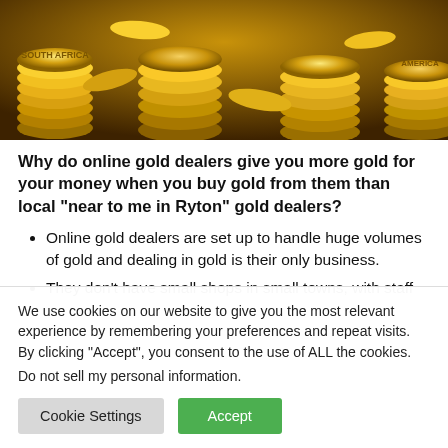[Figure (photo): Stacked gold coins photograph, golden color, close-up view showing multiple coin stacks]
Why do online gold dealers give you more gold for your money when you buy gold from them than local “near to me in Ryton” gold dealers?
Online gold dealers are set up to handle huge volumes of gold and dealing in gold is their only business.
They don’t have small shops in small towns, with staff
We use cookies on our website to give you the most relevant experience by remembering your preferences and repeat visits. By clicking “Accept”, you consent to the use of ALL the cookies.
Do not sell my personal information.